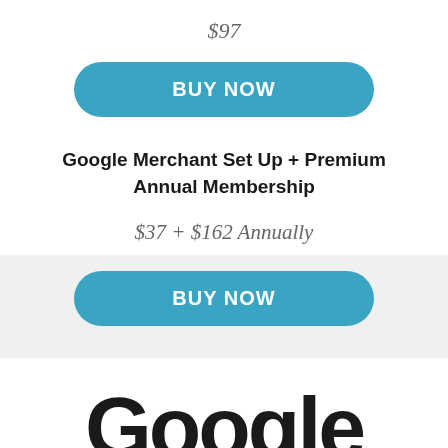$97
[Figure (other): BUY NOW button, teal/blue rounded pill shape]
Google Merchant Set Up + Premium Annual Membership
$37 + $162 Annually
[Figure (other): BUY NOW button, teal/blue rounded pill shape]
[Figure (other): Large bold 'Google' text logo, partially cropped at bottom of page]